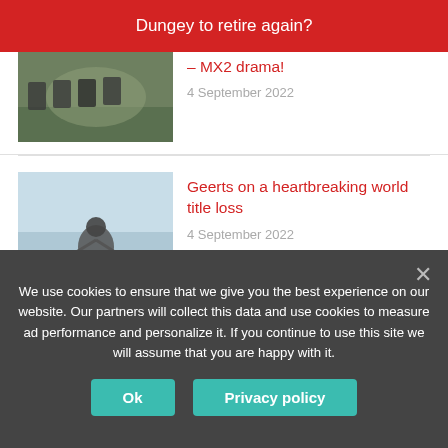Dungey to retire again?
[Figure (photo): Motocross race scene, riders on dirt track]
– MX2 drama!
4 September 2022
[Figure (photo): Motocross rider jumping on blue/white bike]
Geerts on a heartbreaking world title loss
4 September 2022
[Figure (photo): Motocross rider mid-air over crowd at Oxford Moto Park]
Pro race results: MX Nationals UK RD6 – Oxford Moto Park
4 September 2022
We use cookies to ensure that we give you the best experience on our website. Our partners will collect this data and use cookies to measure ad performance and personalize it. If you continue to use this site we will assume that you are happy with it.